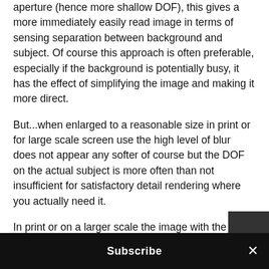aperture (hence more shallow DOF), this gives a more immediately easily read image in terms of sensing separation between background and subject. Of course this approach is often preferable, especially if the background is potentially busy, it has the effect of simplifying the image and making it more direct.
But...when enlarged to a reasonable size in print or for large scale screen use the high level of blur does not appear any softer of course but the DOF on the actual subject is more often than not insufficient for satisfactory detail rendering where you actually need it.
In print or on a larger scale the image with the less shallow DOF usually renders the better result as the detail on the subject is both more finely shown b...
Subscribe